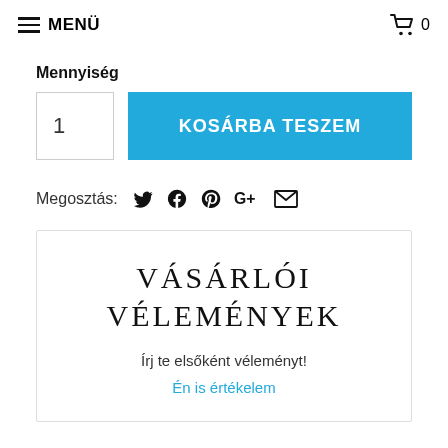≡ MENÜ   🛒 0
Mennyiség
1
KOSÁRBA TESZEM
Megosztás:
VÁSÁRLÓI VÉLEMÉNYEK
Írj te elsőként véleményt!
Én is értékelem